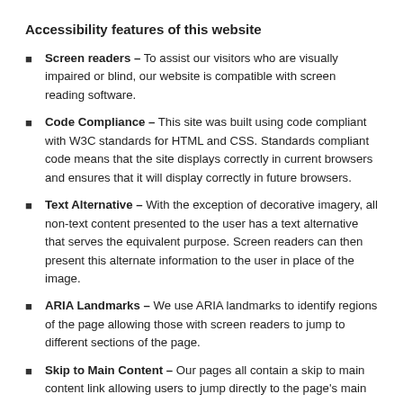Accessibility features of this website
Screen readers – To assist our visitors who are visually impaired or blind, our website is compatible with screen reading software.
Code Compliance – This site was built using code compliant with W3C standards for HTML and CSS. Standards compliant code means that the site displays correctly in current browsers and ensures that it will display correctly in future browsers.
Text Alternative – With the exception of decorative imagery, all non-text content presented to the user has a text alternative that serves the equivalent purpose. Screen readers can then present this alternate information to the user in place of the image.
ARIA Landmarks – We use ARIA landmarks to identify regions of the page allowing those with screen readers to jump to different sections of the page.
Skip to Main Content – Our pages all contain a skip to main content link allowing users to jump directly to the page's main content, avoiding the header content from being read aloud